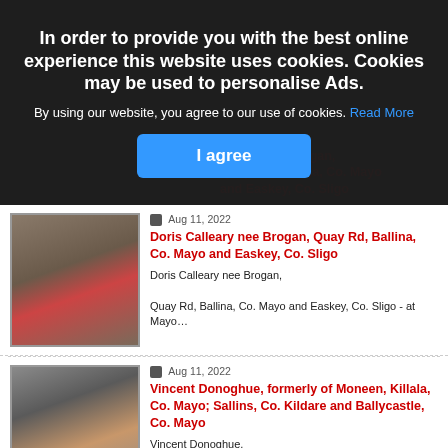In order to provide you with the best online experience this website uses cookies. Cookies may be used to personalise Ads.
By using our website, you agree to our use of cookies. Read More
I agree
Aug 11, 2022
Doris Calleary nee Brogan, Quay Rd, Ballina, Co. Mayo and Easkey, Co. Sligo
Doris Calleary nee Brogan,
Quay Rd, Ballina, Co. Mayo and Easkey, Co. Sligo - at Mayo…
Aug 11, 2022
Vincent Donoghue, formerly of Moneen, Killala, Co. Mayo; Sallins, Co. Kildare and Ballycastle, Co. Mayo
Vincent Donoghue,